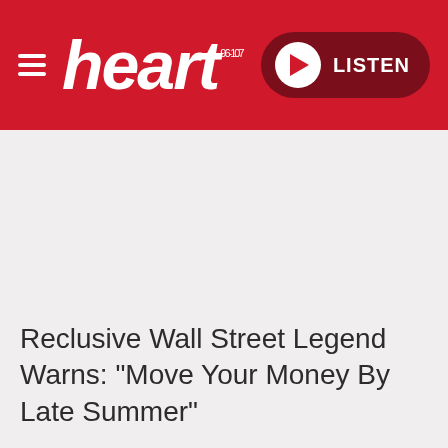heart 96-107 LISTEN
Reclusive Wall Street Legend Warns: "Move Your Money By Late Summer"